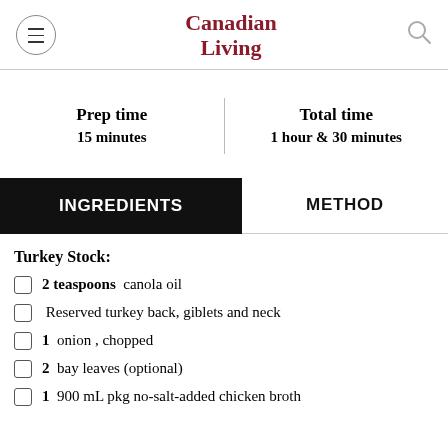Canadian Living
Prep time
15 minutes
Total time
1 hour & 30 minutes
INGREDIENTS
METHOD
Turkey Stock:
2 teaspoons canola oil
Reserved turkey back, giblets and neck
1 onion , chopped
2 bay leaves (optional)
1 900 mL pkg no-salt-added chicken broth